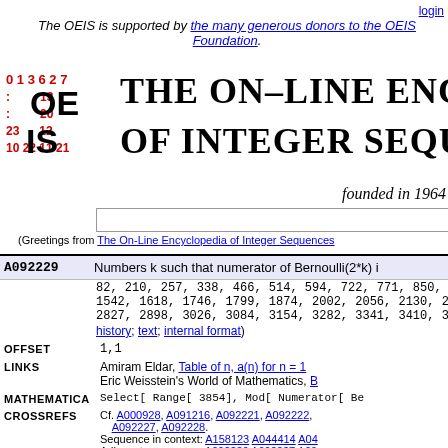login
The OEIS is supported by the many generous donors to the OEIS Foundation.
THE ON-LINE ENCYCLOPEDIA OF INTEGER SEQUENCES
founded in 1964
(Greetings from The On-Line Encyclopedia of Integer Sequences)
| ID | Description |
| --- | --- |
| A092229 | Numbers k such that numerator of Bernoulli(2*k) is ... |
82, 210, 257, 338, 466, 514, 594, 722, 771, 850, 978,
1542, 1618, 1746, 1799, 1874, 2002, 2056, 2130, 2258,
2827, 2898, 3026, 3084, 3154, 3282, 3341, 3410, 3538,
history; text; internal format)
OFFSET  1,1
LINKS  Amiram Eldar, Table of n, a(n) for n = 1...
Eric Weisstein's World of Mathematics, B...
MATHEMATICA  Select[ Range[ 3854], Mod[ Numerator[ Be...
CROSSREFS  Cf. A000928, A091216, A092221, A092222,
A092227, A092228.
Sequence in context: A158123 A044414 A04...
Adjacent sequences: A092226 A092227 A09...